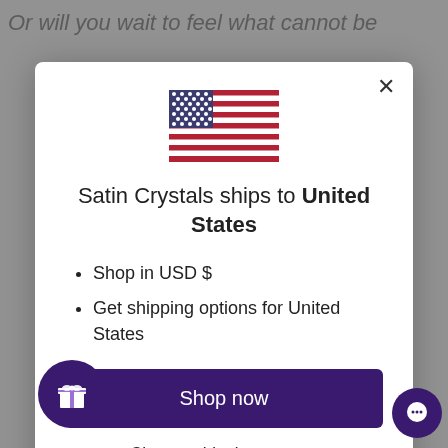Or will you wait to feel what cannot be
[Figure (screenshot): A modal popup dialog on the Satin Crystals website showing a US flag, shipping information for United States, bullet points about USD currency and shipping options, a dark purple 'Shop now' button, and a 'Change shipping country' link. A gift icon button appears at bottom left and a chat button at bottom right.]
Satin Crystals ships to United States
Shop in USD $
Get shipping options for United States
Shop now
Change shipping country